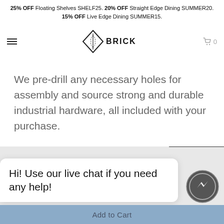25% OFF Floating Shelves SHELF25. 20% OFF Straight Edge Dining SUMMER20. 15% OFF Live Edge Dining SUMMER15.
[Figure (logo): Brick Mill logo with diamond shape and text BRICK MILL]
We pre-drill any necessary holes for assembly and source strong and durable industrial hardware, all included with your purchase.
Hi! Use our live chat if you need any help!